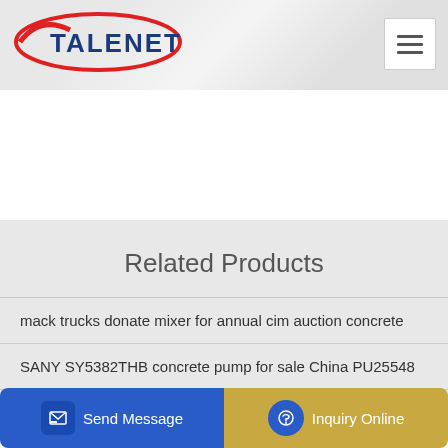[Figure (logo): Talenet company logo with red oval swoosh and blue bold text TALENET]
Related Products
mack trucks donate mixer for annual cim auction concrete
SANY SY5382THB concrete pump for sale China PU25548
Send Message  Inquiry Online